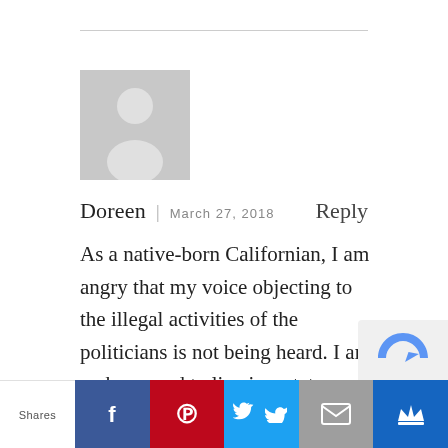[Figure (illustration): Default user avatar placeholder — grey silhouette of a person on a grey background]
Doreen  |  March 27, 2018  Reply
As a native-born Californian, I am angry that my voice objecting to the illegal activities of the politicians is not being heard. I am embarrassed to live in a state where honest citizens are being taxed to pay to protect criminals. My rights are being violated and no one else seems to
Shares  [Facebook] [Pinterest] [Twitter] [Email] [Crown]